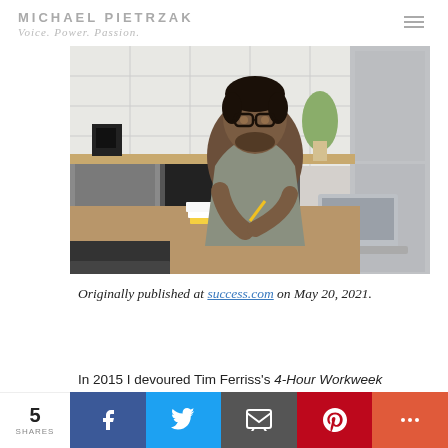MICHAEL PIETRZAK — Voice. Power. Passion.
[Figure (photo): Man with glasses sitting at a kitchen table writing in a notebook with a laptop open beside him]
Originally published at success.com on May 20, 2021.
In 2015 I devoured Tim Ferriss's 4-Hour Workweek and fell so deeply in lo…
5 SHARES | Facebook | Twitter | Email | Pinterest | More